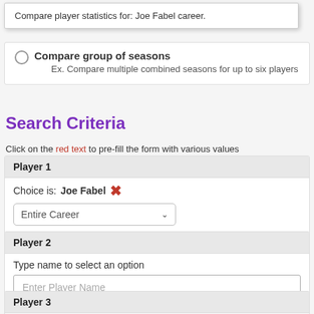Compare player statistics for: Joe Fabel career.
Compare group of seasons
Ex. Compare multiple combined seasons for up to six players
Search Criteria
Click on the red text to pre-fill the form with various values
Player 1
Choice is: Joe Fabel ✕
Entire Career
Player 2
Type name to select an option
Enter Player Name
Player 3
Type name to select an option